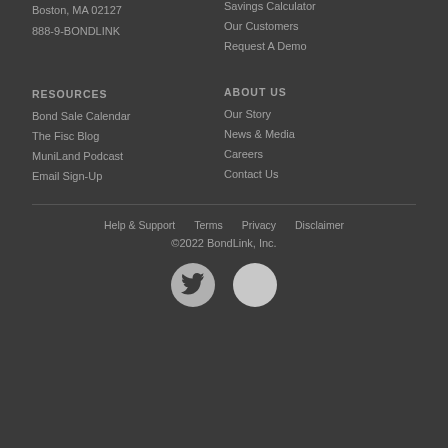Boston, MA 02127
888-9-BONDLINK
Savings Calculator
Our Customers
Request A Demo
RESOURCES
ABOUT US
Bond Sale Calendar
Our Story
The Fisc Blog
News & Media
MuniLand Podcast
Careers
Email Sign-Up
Contact Us
Help & Support   Terms   Privacy   Disclaimer
©2022 BondLink, Inc.
[Figure (illustration): Twitter bird icon in a dark circle and a second social media icon in a light circle]